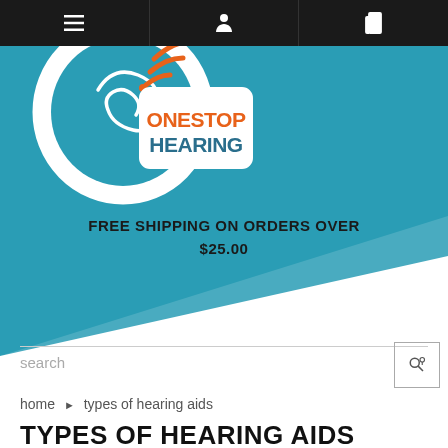Navigation bar with menu, user, and book icons
[Figure (logo): OneStop Hearing logo — white ear shape on teal background with orange wifi-style sound waves and orange text 'ONESTOP' and teal text 'HEARING']
FREE SHIPPING ON ORDERS OVER $25.00
search
home › types of hearing aids
TYPES OF HEARING AIDS